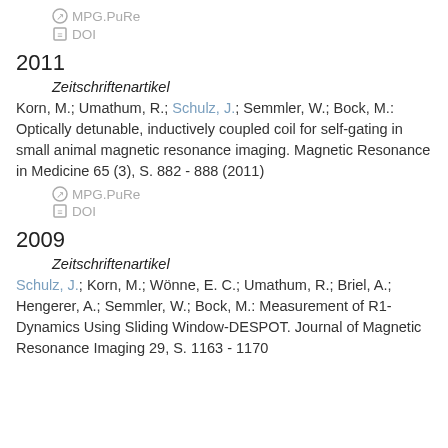MPG.PuRe
DOI
2011
Zeitschriftenartikel
Korn, M.; Umathum, R.; Schulz, J.; Semmler, W.; Bock, M.: Optically detunable, inductively coupled coil for self-gating in small animal magnetic resonance imaging. Magnetic Resonance in Medicine 65 (3), S. 882 - 888 (2011)
MPG.PuRe
DOI
2009
Zeitschriftenartikel
Schulz, J.; Korn, M.; Wönne, E. C.; Umathum, R.; Briel, A.; Hengerer, A.; Semmler, W.; Bock, M.: Measurement of R1-Dynamics Using Sliding Window-DESPOT. Journal of Magnetic Resonance Imaging 29, S. 1163 - 1170